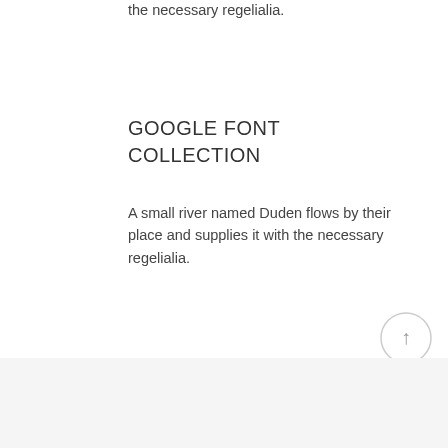the necessary regelialia.
GOOGLE FONT COLLECTION
A small river named Duden flows by their place and supplies it with the necessary regelialia.
[Figure (illustration): Circular scroll-to-top button with an upward arrow, light gray border and white background]
WE ARE THE